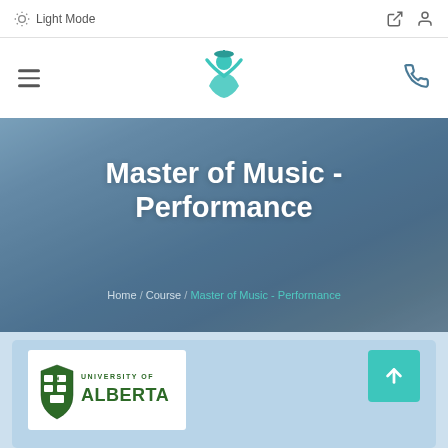Light Mode
[Figure (logo): Navigation bar with hamburger menu, teal person logo in center, and phone icon on right]
Master of Music - Performance
Home / Course / Master of Music - Performance
[Figure (logo): University of Alberta logo with green shield crest and green text]